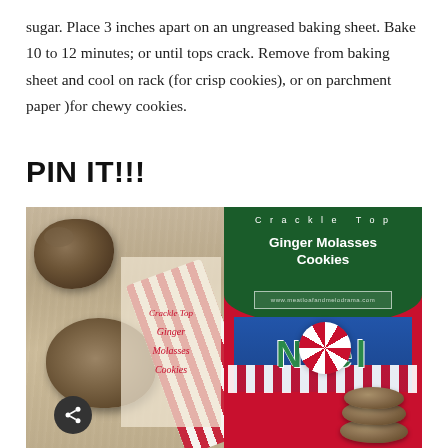sugar. Place 3 inches apart on an ungreased baking sheet. Bake 10 to 12 minutes; or until tops crack. Remove from baking sheet and cool on rack (for crisp cookies), or on parchment paper )for chewy cookies.
PIN IT!!!
[Figure (photo): Two side-by-side images of Crackle Top Ginger Molasses Cookies. Left: a photo of crackle-top ginger molasses cookies on a wooden surface with red-and-white striped ribbon and a semi-transparent overlay card with cursive red text reading 'Crackle Top Ginger Molasses Cookies' and a share button. Right: a Pinterest-style graphic with red background, dark green arch at top with white text 'Crackle Top' and bold 'Ginger Molasses Cookies', a URL box, a blue Noel holiday sign with peppermint candy, a red-and-white striped ribbon, and a stack of crackle-top cookies at bottom right.]